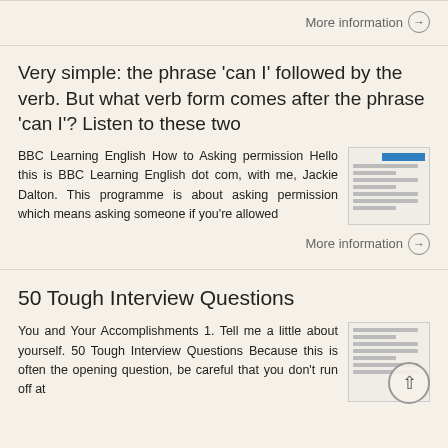More information →
Very simple: the phrase 'can I' followed by the verb. But what verb form comes after the phrase 'can I'? Listen to these two
BBC Learning English How to Asking permission Hello this is BBC Learning English dot com, with me, Jackie Dalton. This programme is about asking permission which means asking someone if you're allowed
More information →
50 Tough Interview Questions
You and Your Accomplishments 1. Tell me a little about yourself. 50 Tough Interview Questions Because this is often the opening question, be careful that you don't run off at